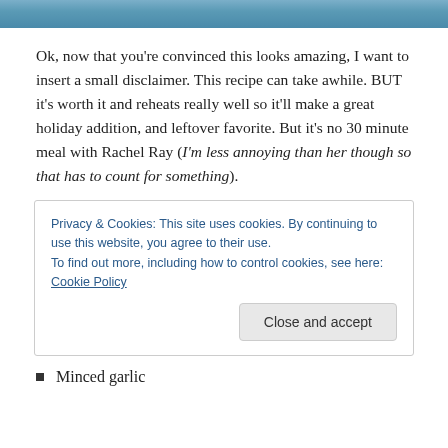[Figure (photo): Top portion of a food photo, showing a dish with a blue/teal background]
Ok, now that you’re convinced this looks amazing, I want to insert a small disclaimer. This recipe can take awhile. BUT it’s worth it and reheats really well so it’ll make a great holiday addition, and leftover favorite. But it’s no 30 minute meal with Rachel Ray (‘I’m less annoying than her though so that has to count for something’).
Privacy & Cookies: This site uses cookies. By continuing to use this website, you agree to their use.
To find out more, including how to control cookies, see here: Cookie Policy
Minced garlic